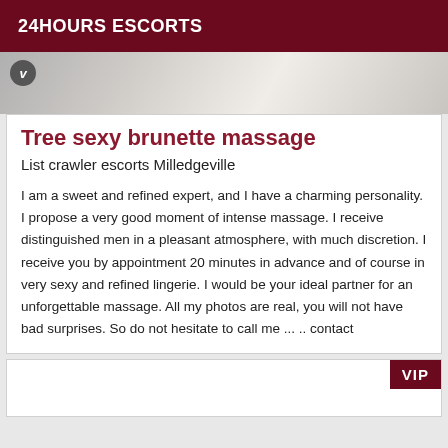24HOURS ESCORTS
[Figure (photo): Partial photo of a woman in white top, with a circular V badge overlay in the top left]
Tree sexy brunette massage
List crawler escorts Milledgeville
I am a sweet and refined expert, and I have a charming personality. I propose a very good moment of intense massage. I receive distinguished men in a pleasant atmosphere, with much discretion. I receive you by appointment 20 minutes in advance and of course in very sexy and refined lingerie. I would be your ideal partner for an unforgettable massage. All my photos are real, you will not have bad surprises. So do not hesitate to call me ... .. contact
[Figure (other): Second listing card with VIP badge in the top right corner]